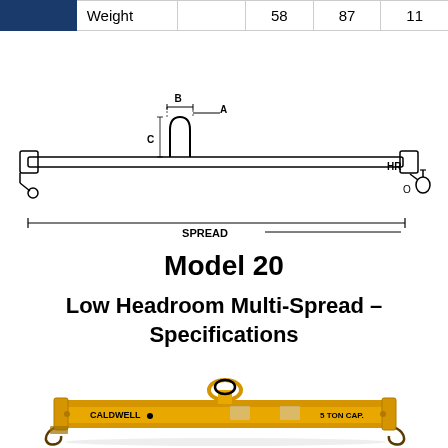|  | Weight |  | 58 | 87 | 11... |
| --- | --- | --- | --- | --- | --- |
|  | Weight |  | 58 | 87 | 11 |
[Figure (engineering-diagram): Engineering schematic of a Low Headroom Multi-Spread lifting beam showing labeled dimensions: B (width of top fitting), A (inner width), C (height of fitting), HR (headroom height), O (hook offset), SPREAD (total beam length). The beam has end hooks and a central lifting eye.]
Model 20
Low Headroom Multi-Spread – Specifications
[Figure (photo): Photo of a yellow Caldwell Model 20 Low Headroom Multi-Spread lifting beam. The beam is yellow with black text reading CALDWELL and 5 TON CAP. It has a central top lifting eye and two end hooks.]